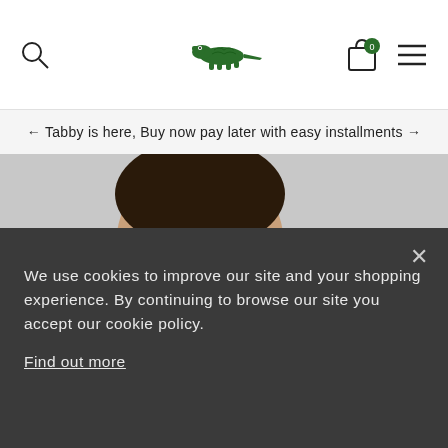[Figure (screenshot): Lacoste website navigation bar with search icon, Lacoste crocodile logo, shopping bag with 0 badge, and hamburger menu]
← Tabby is here, Buy now pay later with easy installments →
[Figure (photo): Close-up photo of a young man modelling a striped Lacoste polo shirt, with a small thumbnail image of the same product in bottom left]
We use cookies to improve our site and your shopping experience. By continuing to browse our site you accept our cookie policy. Find out more